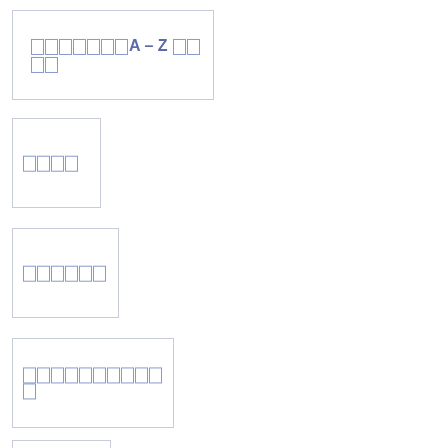[Figure (other): Box with placeholder text containing CJK character boxes followed by 'A – Z' and more character boxes]
[Figure (other): Box with placeholder CJK character boxes]
[Figure (other): Box with placeholder CJK character boxes]
[Figure (other): Box with placeholder CJK character boxes]
[Figure (other): Box with placeholder CJK character boxes (partially visible)]